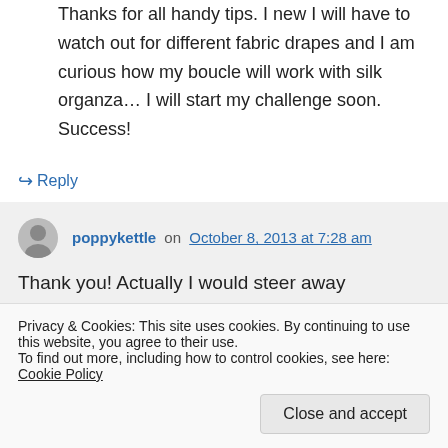Thanks for all handy tips. I new I will have to watch out for different fabric drapes and I am curious how my boucle will work with silk organza… I will start my challenge soon. Success!
↪ Reply
poppykettle on October 8, 2013 at 7:28 am
Thank you! Actually I would steer away
Privacy & Cookies: This site uses cookies. By continuing to use this website, you agree to their use.
To find out more, including how to control cookies, see here: Cookie Policy
Close and accept
It's super snuggly!!!